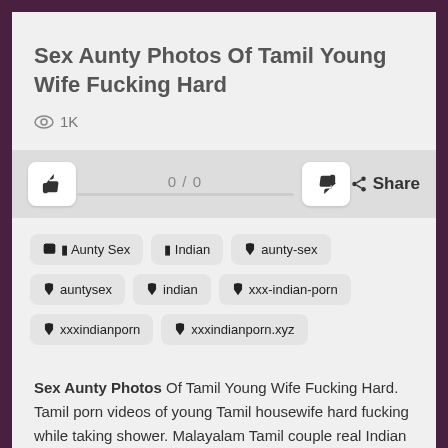Sex Aunty Photos Of Tamil Young Wife Fucking Hard
👁 1K
0 / 0  Share
📁 Aunty Sex
📁 Indian
🏷 aunty-sex
🏷 auntysex
🏷 indian
🏷 xxx-indian-porn
🏷 xxxindianporn
🏷 xxxindianporn.xyz
Sex Aunty Photos Of Tamil Young Wife Fucking Hard. Tamil porn videos of young Tamil housewife hard fucking while taking shower. Malayalam Tamil couple real Indian porn video